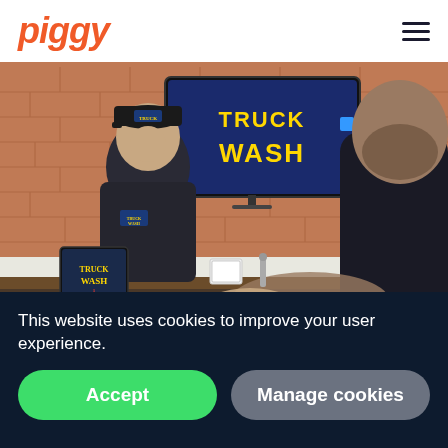piggy
[Figure (photo): Two men at a Truck Wash counter smiling and shaking hands. One man wears a Truck Wash uniform and cap. A Truck Wash logo is on the wall behind them and a POS tablet is on the counter. Brick wall background.]
This website uses cookies to improve your user experience.
Accept
Manage cookies